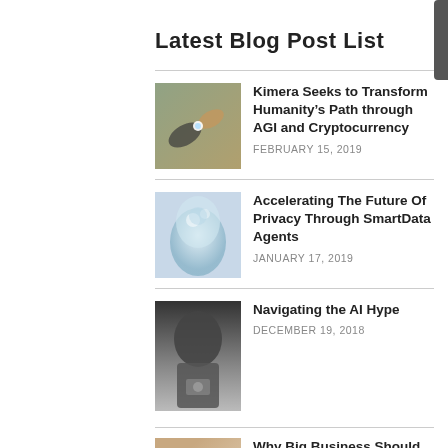Latest Blog Post List
Kimera Seeks to Transform Humanity’s Path through AGI and Cryptocurrency
FEBRUARY 15, 2019
Accelerating The Future Of Privacy Through SmartData Agents
JANUARY 17, 2019
Navigating the AI Hype
DECEMBER 19, 2018
Why Big Business Should...